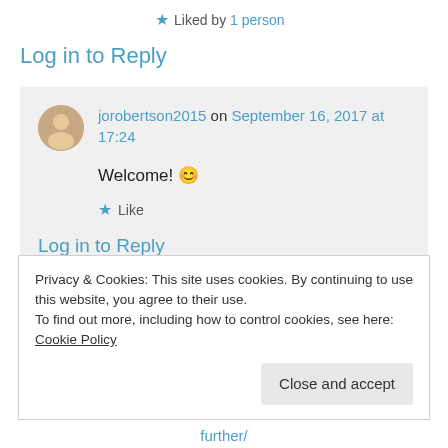★ Liked by 1 person
Log in to Reply
jorobertson2015 on September 16, 2017 at 17:24
Welcome! 😊
★ Like
Log in to Reply
Privacy & Cookies: This site uses cookies. By continuing to use this website, you agree to their use.
To find out more, including how to control cookies, see here: Cookie Policy
Close and accept
further/